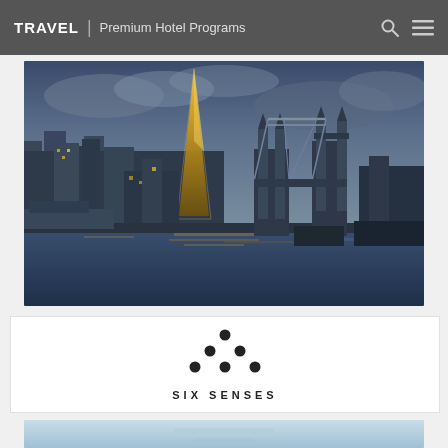TRAVEL | Premium Hotel Programs
[Figure (photo): Nighttime cityscape of London featuring The Shard skyscraper and Tower Bridge reflected in the River Thames, with dramatic blue cloudy sky]
[Figure (logo): Six Senses hotel brand logo with decorative dot pattern above the text SIX SENSES]
[Figure (photo): Partial view of a luxury hotel or spa scene, appears to show a light blue surface — likely a pool or bed — cropped at bottom of page]